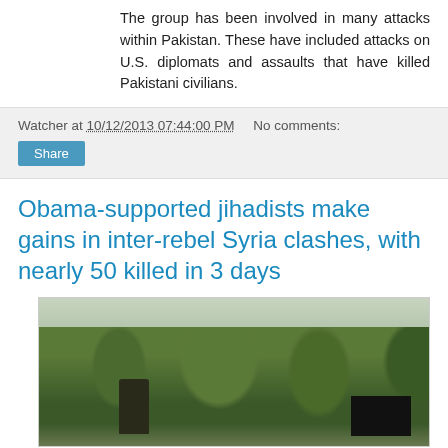The group has been involved in many attacks within Pakistan. These have included attacks on U.S. diplomats and assaults that have killed Pakistani civilians.
Watcher at 10/12/2013 07:44:00 PM   No comments:
Share
Obama-supported jihadists make gains in inter-rebel Syria clashes, with nearly 50 killed in 3 days
[Figure (photo): Outdoor photo showing trees and vegetation with a dark flag visible on the right side, and a figure in the foreground.]